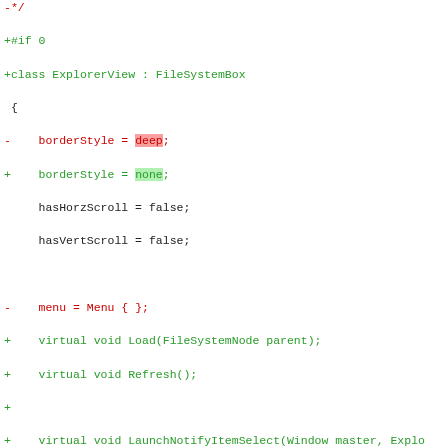[Figure (screenshot): A code diff showing additions and removals in a source file. Lines prefixed with '-' are removals (red), lines with '+' are additions (green), and unchanged lines are shown in black monospace. Highlights show 'deep' in red background and 'none' in green background.]